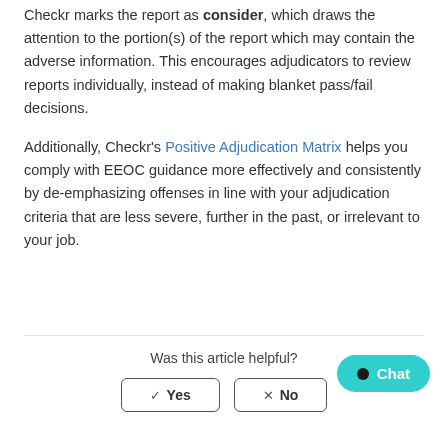Checkr marks the report as consider, which draws the attention to the portion(s) of the report which may contain the adverse information. This encourages adjudicators to review reports individually, instead of making blanket pass/fail decisions.
Additionally, Checkr's Positive Adjudication Matrix helps you comply with EEOC guidance more effectively and consistently by de-emphasizing offenses in line with your adjudication criteria that are less severe, further in the past, or irrelevant to your job.
Was this article helpful?